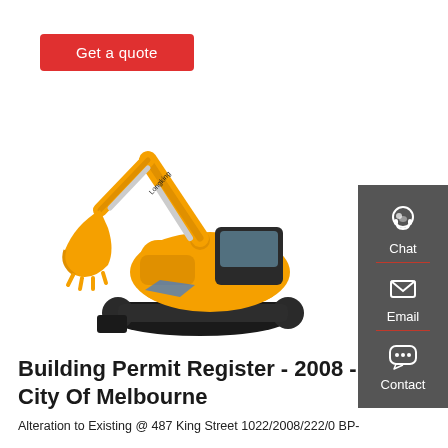Get a quote
[Figure (photo): Orange tracked excavator / mini digger on white background]
[Figure (infographic): Dark grey sidebar with Chat (headset icon), Email (envelope icon), and Contact (speech bubble icon) buttons with red dividers]
Building Permit Register - 2008 - City Of Melbourne
Alteration to Existing @ 487 King Street 1022/2008/222/0 BP-